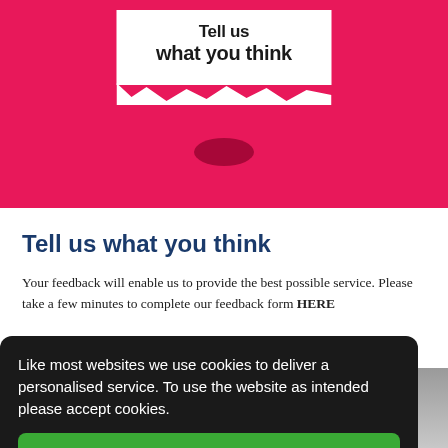[Figure (photo): Pink/red torn paper background with white torn paper revealing text 'Tell us what you think']
Tell us what you think
Your feedback will enable us to provide the best possible service. Please take a few minutes to complete our feedback form HERE
Like most websites we use cookies to deliver a personalised service. To use the website as intended please accept cookies.
Accept Cookies
[Figure (photo): Bottom portion showing a person holding something, partially visible]